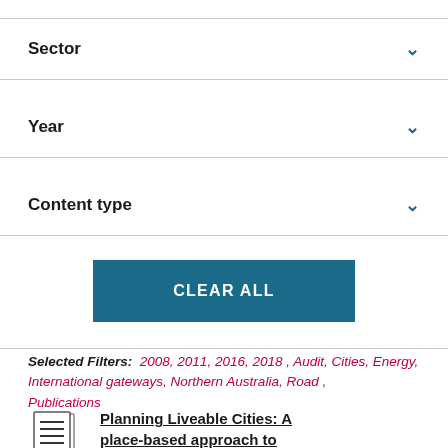Sector
Year
Content type
CLEAR ALL
Selected Filters:  2008, 2011, 2016, 2018 , Audit, Cities, Energy, International gateways, Northern Australia, Road , Publications
Planning Liveable Cities: A place-based approach to